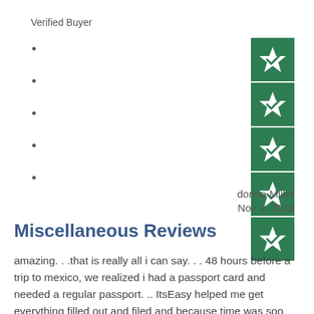Verified Buyer
[Figure (other): 5-star Trustpilot rating widget showing 5 green boxes each containing a white star with a checkmark]
donna Miller
Nov 2, 2018
Miscellaneous Reviews
amazing. . .that is really all i can say. . . 48 hours before a trip to mexico, we realized i had a passport card and needed a regular passport. .. ItsEasy helped me get everything filled out and filed and because time was soo short, my passport was waiting for me at the atlanta airport!!! they are a lifesaver!!